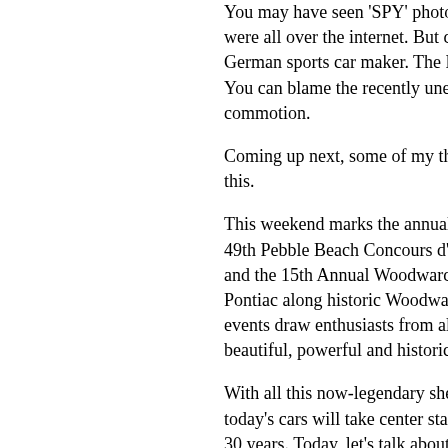You may have seen 'SPY' photos ... were all over the internet. But don't blame the German sports car maker. The New ... You can blame the recently unemp... commotion.
Coming up next, some of my thoug... this.
This weekend marks the annual gr... 49th Pebble Beach Concours d'Ele... and the 15th Annual Woodward Dr... Pontiac along historic Woodward A... events draw enthusiasts from all ov... beautiful, powerful and historically s...
With all this now-legendary sheet m... today's cars will take center stage, ... 30 years. Today, let's talk about Pe...
Certainly we should expect to see s... the 2039 Pebble Beach Concours. ... a given. Sold in the U.S. from 2000... of an M5 placed in an all-aluminum... the spirit of the rare 1956 to 1959 B... leather trimmed interior that is perf... outside, it's tough to refute the fact... BMW in over three decades.
Another shoe-in for America's prem... Mercedes-Benz SLR McLaren. A p... McLaren Automotive, the SLR is a...